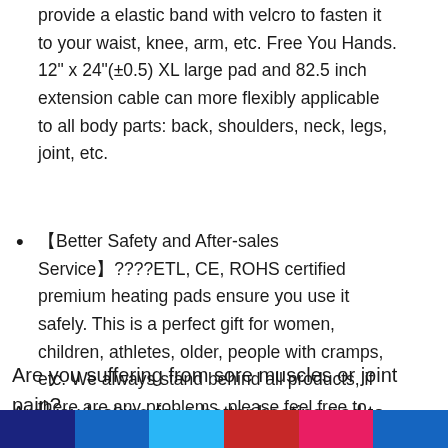provide a elastic band with velcro to fasten it to your waist, knee, arm, etc. Free You Hands. 12" x 24"(±0.5) XL large pad and 82.5 inch extension cable can more flexibly applicable to all body parts: back, shoulders, neck, legs, joint, etc.
【Better Safety and After-sales Service】????ETL, CE, ROHS certified premium heating pads ensure you use it safely. This is a perfect gift for women, children, athletes, older, people with cramps, etc. We always stand behind all products, if there are any problems, please feel free to contact us.
Are you suffering from sore muscles or joint pain?
Are you looking for a better heating pad to relieve pain?